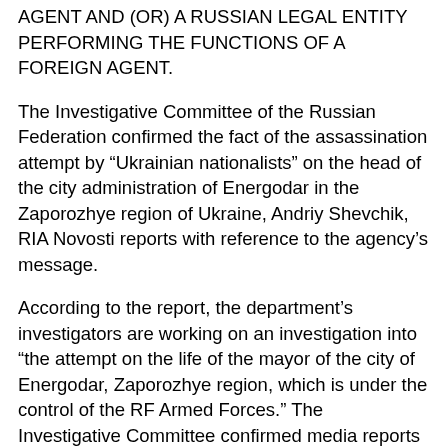AGENT AND (OR) A RUSSIAN LEGAL ENTITY PERFORMING THE FUNCTIONS OF A FOREIGN AGENT.
The Investigative Committee of the Russian Federation confirmed the fact of the assassination attempt by “Ukrainian nationalists” on the head of the city administration of Energodar in the Zaporozhye region of Ukraine, Andriy Shevchik, RIA Novosti reports with reference to the agency’s message.
According to the report, the department’s investigators are working on an investigation into “the attempt on the life of the mayor of the city of Energodar, Zaporozhye region, which is under the control of the RF Armed Forces.” The Investigative Committee confirmed media reports